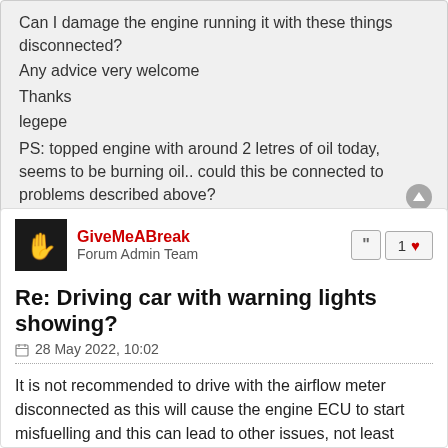Can I damage the engine running it with these things disconnected?
Any advice very welcome
Thanks
legepe
PS: topped engine with around 2 letres of oil today, seems to be burning oil.. could this be connected to problems described above?
GiveMeABreak
Forum Admin Team
Re: Driving car with warning lights showing?
28 May 2022, 10:02
It is not recommended to drive with the airflow meter disconnected as this will cause the engine ECU to start misfuelling and this can lead to other issues, not least increased fuel use and incorrect mixture.
I suggest you take it to a proper garage that can properly